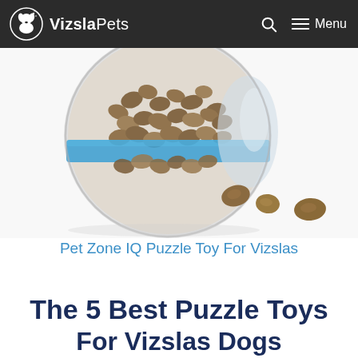VizslaPets  🔍  ☰ Menu
[Figure (photo): A clear plastic ball-shaped pet puzzle toy filled with brown dog kibble, with a few pieces of kibble scattered on a white surface in front of it. The toy has a blue accent band around the middle.]
Pet Zone IQ Puzzle Toy For Vizslas
The 5 Best Puzzle Toys For Vizslas Dogs